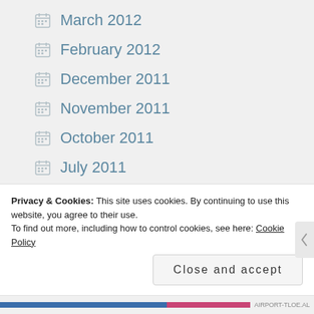March 2012
February 2012
December 2011
November 2011
October 2011
July 2011
February 2011
November 2010
October 2010
September 2010
Privacy & Cookies: This site uses cookies. By continuing to use this website, you agree to their use.
To find out more, including how to control cookies, see here: Cookie Policy
Close and accept